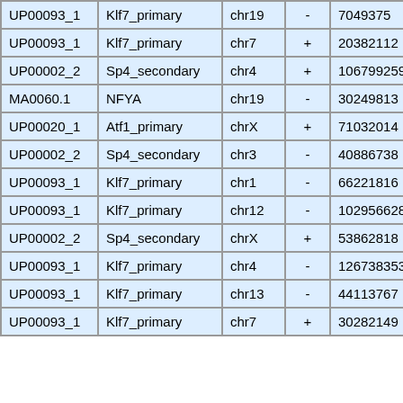| UP00093_1 | Klf7_primary | chr19 | - | 7049375 | 704939… |
| UP00093_1 | Klf7_primary | chr7 | + | 20382112 | 203821… |
| UP00002_2 | Sp4_secondary | chr4 | + | 106799259 | 106799… |
| MA0060.1 | NFYA | chr19 | - | 30249813 | 302498… |
| UP00020_1 | Atf1_primary | chrX | + | 71032014 | 710320… |
| UP00002_2 | Sp4_secondary | chr3 | - | 40886738 | 408867… |
| UP00093_1 | Klf7_primary | chr1 | - | 66221816 | 662218… |
| UP00093_1 | Klf7_primary | chr12 | - | 102956628 | 102956… |
| UP00002_2 | Sp4_secondary | chrX | + | 53862818 | 53862… |
| UP00093_1 | Klf7_primary | chr4 | - | 126738353 | 126738… |
| UP00093_1 | Klf7_primary | chr13 | - | 44113767 | 441137… |
| UP00093_1 | Klf7_primary | chr7 | + | 30282149 | 30282… |